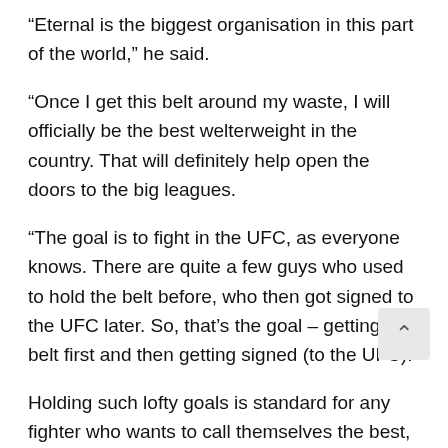“Eternal is the biggest organisation in this part of the world,” he said.
“Once I get this belt around my waste, I will officially be the best welterweight in the country. That will definitely help open the doors to the big leagues.
“The goal is to fight in the UFC, as everyone knows. There are quite a few guys who used to hold the belt before, who then got signed to the UFC later. So, that’s the goal – getting the belt first and then getting signed (to the UFC).
Holding such lofty goals is standard for any fighter who wants to call themselves the best, and Kevin Jousset is no different. While he hopes to carve his own international path someday, he has no intention of l beyond his next opponent standing in the way of him